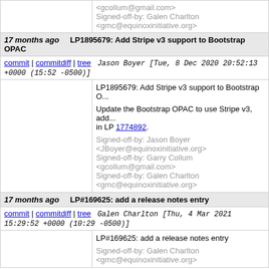<gcollum@gmail.com>
Signed-off-by: Galen Charlton
<gmc@equinoxinitiative.org>
17 months ago   LP1895679: Add Stripe v3 support to Bootstrap OPAC
commit | commitdiff | tree   Jason Boyer [Tue, 8 Dec 2020 20:52:13 +0000 (15:52 -0500)]
LP1895679: Add Stripe v3 support to Bootstrap O...
Update the Bootstrap OPAC to use Stripe v3, add... in LP 1774892.
Signed-off-by: Jason Boyer <JBoyer@equinoxinitiative.org>
Signed-off-by: Garry Collum <gcollum@gmail.com>
Signed-off-by: Galen Charlton <gmc@equinoxinitiative.org>
17 months ago   LP#169625: add a release notes entry
commit | commitdiff | tree   Galen Charlton [Thu, 4 Mar 2021 15:29:52 +0000 (10:29 -0500)]
LP#169625: add a release notes entry
Signed-off-by: Galen Charlton
<gmc@equinoxinitiative.org>